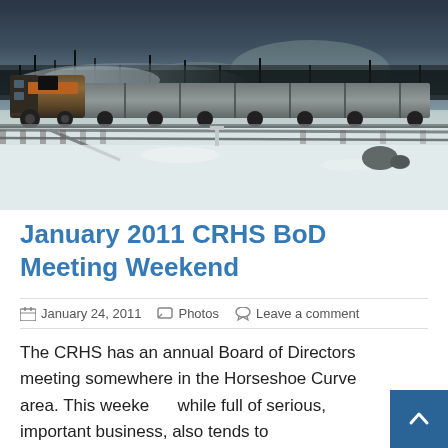[Figure (photo): A freight train (Norfolk Southern locomotive) pulling a long line of hopper cars through a snowy winter landscape. Snow covers the ground and rail yard switches. Bare trees and a cloudy sky visible in background. Steam or exhaust billowing from the locomotive.]
January 2011 CRHS BoD Meeting Weekend
January 24, 2011   Photos   Leave a comment
The CRHS has an annual Board of Directors meeting somewhere in the Horseshoe Curve area. This weekend, while full of serious, important business, also tends to